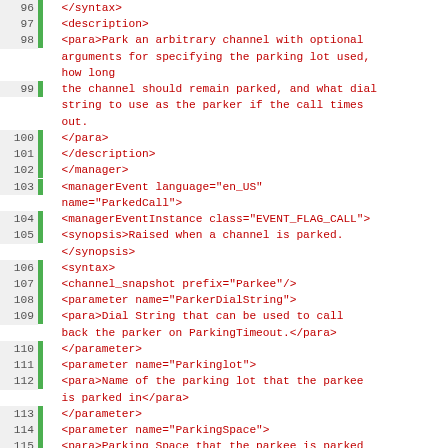Code listing lines 96-119 showing XML documentation for parking channel manager events